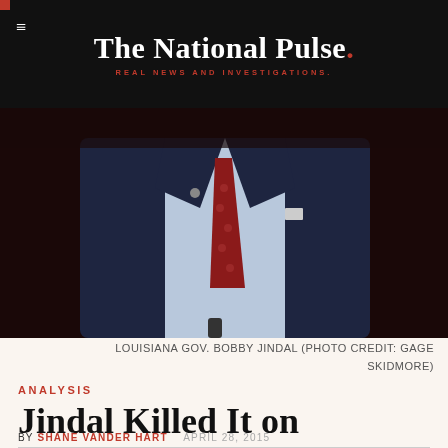The National Pulse. REAL NEWS AND INVESTIGATIONS.
[Figure (photo): Torso of a man in a dark suit and red tie with a microphone visible, photographed against a dark background. Photo of Louisiana Gov. Bobby Jindal.]
LOUISIANA GOV. BOBBY JINDAL (PHOTO CREDIT: GAGE SKIDMORE)
ANALYSIS
Jindal Killed It on Religious Liberty
BY SHANE VANDER HART   APRIL 28, 2015